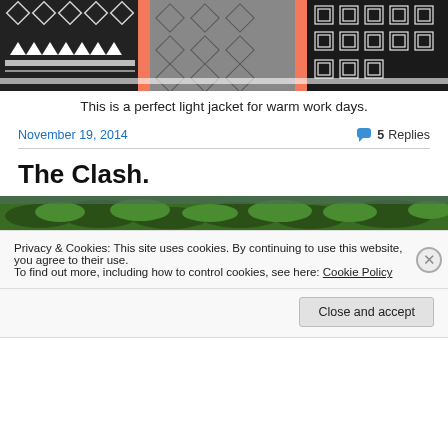[Figure (photo): Close-up photo of black and white patterned fabric/jacket with geometric designs and orange/coral straps]
This is a perfect light jacket for warm work days.
November 19, 2014
5 Replies
The Clash.
[Figure (photo): Partial photo of green ferns/trees]
Privacy & Cookies: This site uses cookies. By continuing to use this website, you agree to their use.
To find out more, including how to control cookies, see here: Cookie Policy
Close and accept